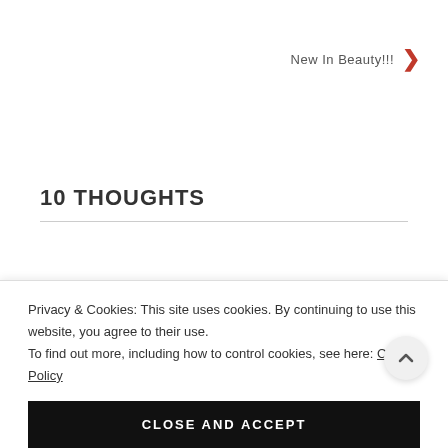New In Beauty!!!
10 THOUGHTS
hdorcutt
December 1, 2017 at 8:04 pm
Privacy & Cookies: This site uses cookies. By continuing to use this website, you agree to their use.
To find out more, including how to control cookies, see here: Cookie Policy
CLOSE AND ACCEPT